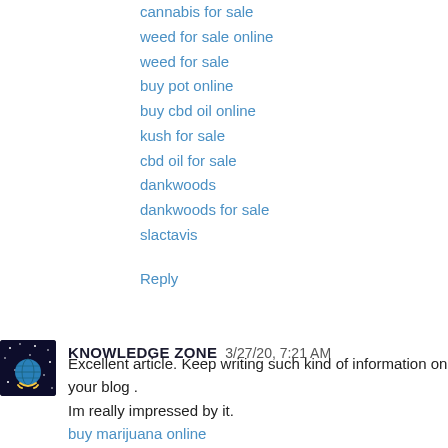cannabis for sale
weed for sale online
weed for sale
buy pot online
buy cbd oil online
kush for sale
cbd oil for sale
dankwoods
dankwoods for sale
slactavis
Reply
KNOWLEDGE ZONE 3/27/20, 7:21 AM
Excellent article. Keep writing such kind of information on your blog .
Im really impressed by it.
buy marijuana online
You've performed a fantastic job. I'll definitely digg it and for my part recommend to my friends. I'm confident they'll be benefited from this web site.